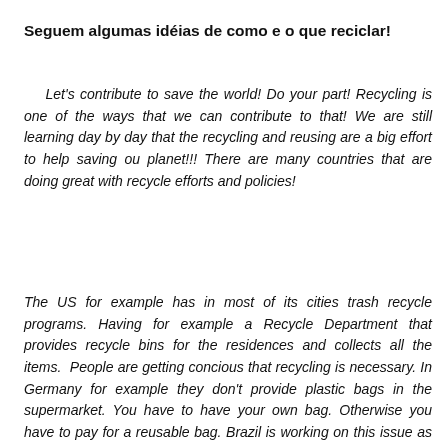Seguem algumas idéias de como e o que reciclar!
Let's contribute to save the world! Do your part! Recycling is one of the ways that we can contribute to that! We are still learning day by day that the recycling and reusing are a big effort to help saving ou planet!!! There are many countries that are doing great with recycle efforts and policies!
The US for example has in most of its cities trash recycle programs. Having for example a Recycle Department that provides recycle bins for the residences and collects all the items. People are getting concious that recycling is necessary. In Germany for example they don't provide plastic bags in the supermarket. You have to have your own bag. Otherwise you have to pay for a reusable bag. Brazil is working on this issue as well. We are seeing